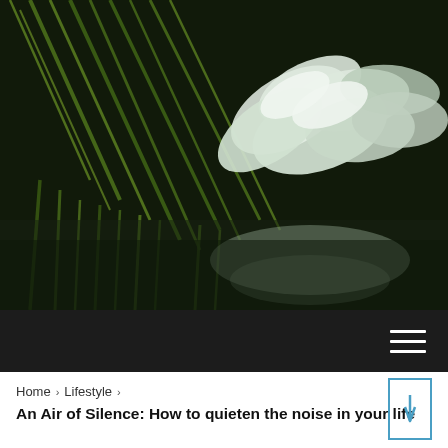[Figure (photo): Close-up photograph of white flower petals with green grass-like stems against a dark/black background, with a mirror reflection effect at the bottom]
Navigation bar with hamburger menu icon on dark background
Home › Lifestyle ›
An Air of Silence: How to quieten the noise in your life